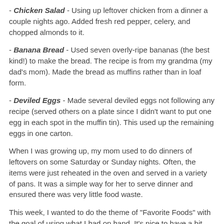- Chicken Salad - Using up leftover chicken from a dinner a couple nights ago.  Added fresh red pepper, celery, and chopped almonds to it.
- Banana Bread - Used seven overly-ripe bananas (the best kind!) to make the bread.  The recipe is from my grandma (my dad's mom).  Made the bread as muffins rather than in loaf form.
- Deviled Eggs - Made several deviled eggs not following any recipe (served others on a plate since I didn't want to put one egg in each spot in the muffin tin). This used up the remaining eggs in one carton.
When I was growing up, my mom used to do dinners of leftovers on some Saturday or Sunday nights.  Often, the items were just reheated in the oven and served in a variety of pans.  It was a simple way for her to serve dinner and ensured there was very little food waste.
This week, I wanted to do the theme of "Favorite Foods" with the goal of using what I had on hand.  It's nice to have a bit